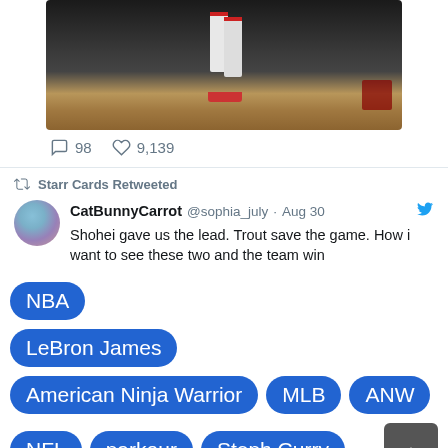[Figure (photo): Cropped photo of a baseball player in white uniform and red accents on a field, showing legs and feet area with dirt infield visible]
98   9,139
Starr Cards Retweeted
CatBunnyCarrot @sophia_july · Aug 30
Shohei gave us the lead. Trout save the game. How i want to see these two and the team win
NBA
LeBron James
American Ninja Warrior
MLB
ANW
NFL
parkour
Steph Curry
obstacle racing
Dude Perfect